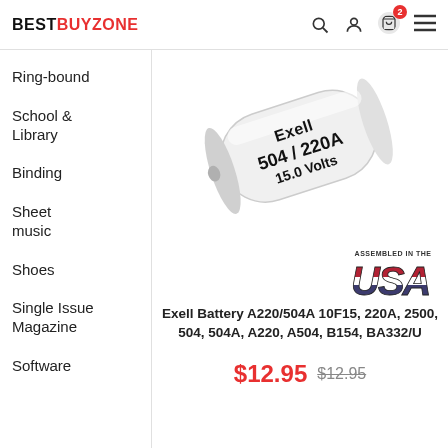BESTBUYZONE
Ring-bound
School & Library
Binding
Sheet music
Shoes
Single Issue Magazine
Software
[Figure (photo): Exell brand cylindrical battery labeled '504 / 220A 15.0 Volts']
[Figure (logo): Assembled in the USA logo with red, white and blue USA text]
Exell Battery A220/504A 10F15, 220A, 2500, 504, 504A, A220, A504, B154, BA332/U
$12.95  $12.95